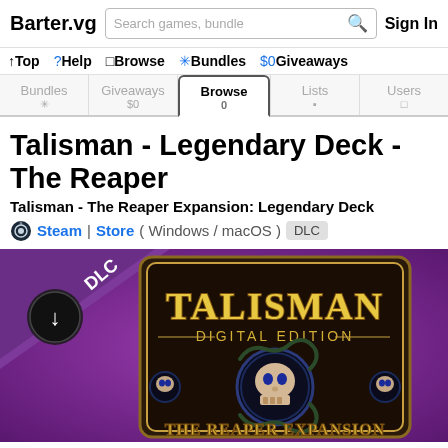Barter.vg | Search games, bundles | Sign In
↑Top ?Help □Browse ✳Bundles $0Giveaways
Bundles * | Giveaways $0 | Browse 0 | Lists ▪ | Users □
Talisman - Legendary Deck - The Reaper
Talisman - The Reaper Expansion: Legendary Deck
Steam | Store ( Windows / macOS ) DLC
[Figure (screenshot): Game cover art for Talisman Digital Edition - The Reaper Expansion, showing a purple background with the Talisman Digital Edition logo featuring a skull, and text 'THE REAPER EXPANSION' at the bottom. A DLC badge with download icon is shown in the top-left corner.]